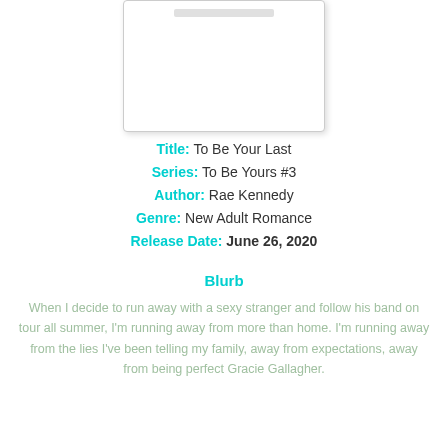[Figure (illustration): Book cover placeholder — white rectangle with rounded corners, light grey border, and a light grey rounded rectangle at the top representing a cover element]
Title: To Be Your Last
Series: To Be Yours #3
Author: Rae Kennedy
Genre: New Adult Romance
Release Date: June 26, 2020
Blurb
When I decide to run away with a sexy stranger and follow his band on tour all summer, I'm running away from more than home. I'm running away from the lies I've been telling my family, away from expectations, away from being perfect Gracie Gallagher.